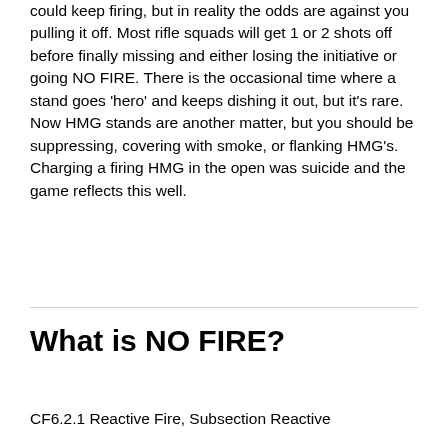could keep firing, but in reality the odds are against you pulling it off. Most rifle squads will get 1 or 2 shots off before finally missing and either losing the initiative or going NO FIRE. There is the occasional time where a stand goes 'hero' and keeps dishing it out, but it's rare. Now HMG stands are another matter, but you should be suppressing, covering with smoke, or flanking HMG's. Charging a firing HMG in the open was suicide and the game reflects this well.
What is NO FIRE?
CF6.2.1 Reactive Fire, Subsection Reactive